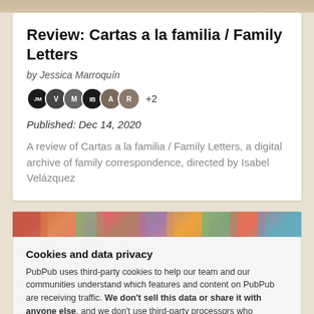Review: Cartas a la familia / Family Letters
by Jessica Marroquín
Published: Dec 14, 2020
A review of Cartas a la familia / Family Letters, a digital archive of family correspondence, directed by Isabel Velázquez
Cookies and data privacy
PubPub uses third-party cookies to help our team and our communities understand which features and content on PubPub are receiving traffic. We don't sell this data or share it with anyone else, and we don't use third-party processors who aggregate and sell data. Visit your privacy settings to learn more.